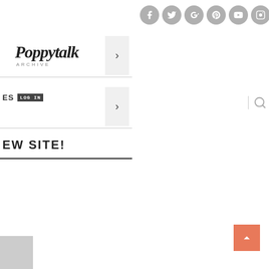[Figure (other): Row of 6 circular grey social media icons: Facebook, Twitter, Google+, Pinterest, YouTube, Instagram]
Poppytalk ARCHIVE
[Figure (other): Grey right-arrow button box]
ES [label badge]
[Figure (other): Grey right-arrow button box]
[Figure (other): Search icon with vertical divider]
EW SITE!
[Figure (other): Orange back-to-top arrow button]
[Figure (photo): Small partial image in bottom-left corner]